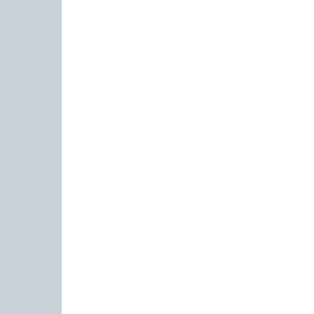| Product Name |
| --- |
| CLEAN TEETH GEL |
| CLOREXIDINE SHAMPOO |
| CLOREXYDERM FORTE |
| CLOREXYDERM OTO PIÚ |
| CLOREXYDERM ROZTOK |
| CLOREXYDERM SHAMPO |
| CLOREXYDERM SPOT GE |
| CLX WIPES |
| COAT CARE |
| COAT TOP |
| COLAFIT 4 |
| COLAFIT 5 |
| COLAFIT 7 |
| COLAFIT MAX FORTE |
| COLAFIT PONY |